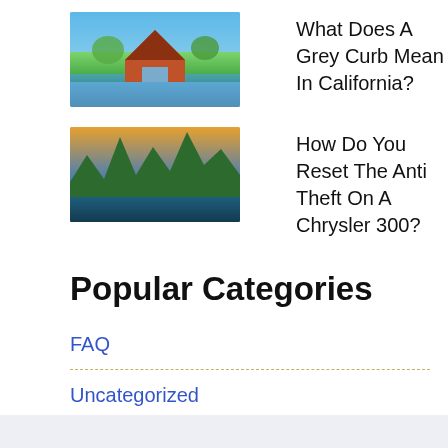What Does A Grey Curb Mean In California?
How Do You Reset The Anti Theft On A Chrysler 300?
Popular Categories
FAQ
Uncategorized
Wiki